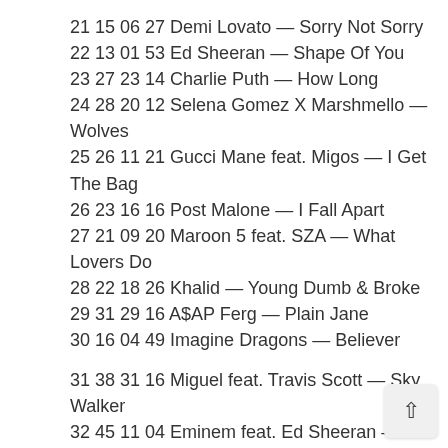21 15 06 27 Demi Lovato — Sorry Not Sorry
22 13 01 53 Ed Sheeran — Shape Of You
23 27 23 14 Charlie Puth — How Long
24 28 20 12 Selena Gomez X Marshmello — Wolves
25 26 11 21 Gucci Mane feat. Migos — I Get The Bag
26 23 16 16 Post Malone — I Fall Apart
27 21 09 20 Maroon 5 feat. SZA — What Lovers Do
28 22 18 26 Khalid — Young Dumb & Broke
29 31 29 16 A$AP Ferg — Plain Jane
30 16 04 49 Imagine Dragons — Believer
31 38 31 16 Miguel feat. Travis Scott — Sky Walker
32 45 11 04 Eminem feat. Ed Sheeran — River
33 36 24 20 Lil Uzi Vert feat. Nicki Minaj — The Way Life Goes
34 25 01 52 Luis Fonsi & Daddy Yankee feat. Justin Bieber — Despacito
35 30 03 28 J Balvin & Willy William feat. Beyonce —